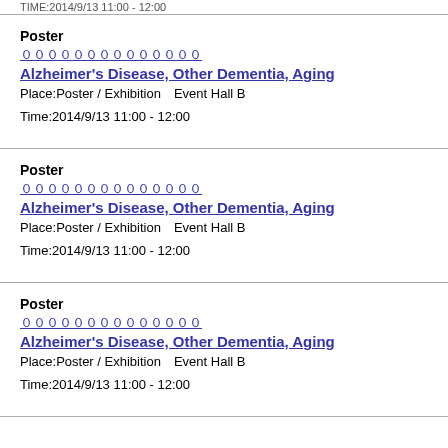TIME:2014/9/13 11:00 - 12:00
Poster
[Japanese text]
Alzheimer's Disease, Other Dementia, Aging
Place:Poster / Exhibition Event Hall B 
Time:2014/9/13 11:00 - 12:00
Poster
[Japanese text]
Alzheimer's Disease, Other Dementia, Aging
Place:Poster / Exhibition Event Hall B 
Time:2014/9/13 11:00 - 12:00
Poster
[Japanese text]
Alzheimer's Disease, Other Dementia, Aging
Place:Poster / Exhibition Event Hall B 
Time:2014/9/13 11:00 - 12:00